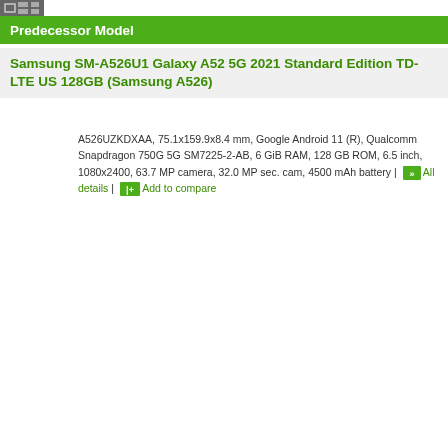Predecessor Model
Samsung SM-A526U1 Galaxy A52 5G 2021 Standard Edition TD-LTE US 128GB (Samsung A526)
A526UZKDXAA, 75.1x159.9x8.4 mm, Google Android 11 (R), Qualcomm Snapdragon 750G 5G SM7225-2-AB, 6 GiB RAM, 128 GB ROM, 6.5 inch, 1080x2400, 63.7 MP camera, 32.0 MP sec. cam, 4500 mAh battery | All details | Add to compare